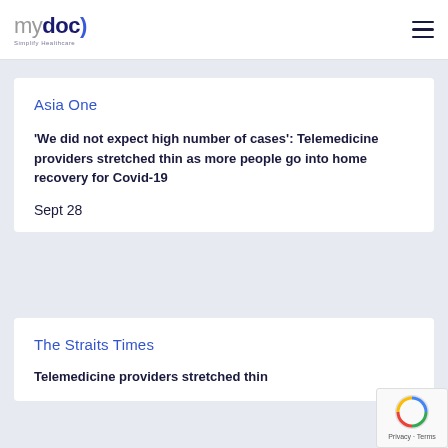mydoc) Simplify Healthcare
Asia One
'We did not expect high number of cases': Telemedicine providers stretched thin as more people go into home recovery for Covid-19
Sept 28
The Straits Times
Telemedicine providers stretched thin